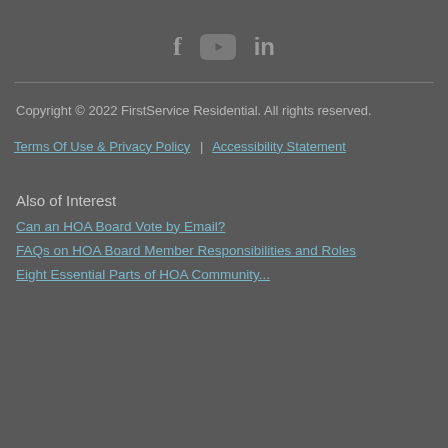[Figure (illustration): Social media icons: Facebook (f), YouTube (play button in rounded rectangle), LinkedIn (in)]
Copyright © 2022 FirstService Residential. All rights reserved.
Terms Of Use & Privacy Policy  |  Accessibility Statement
Also of Interest
Can an HOA Board Vote by Email?
FAQs on HOA Board Member Responsibilities and Roles
Eight Essential Parts of HOA Community...